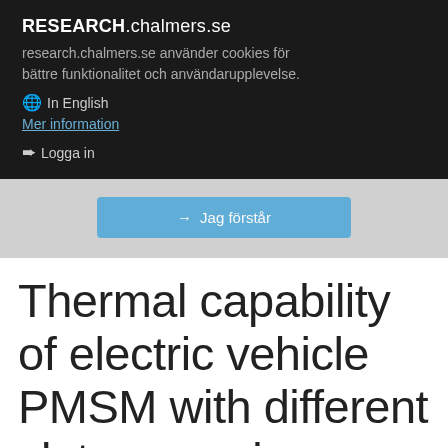RESEARCH.chalmers.se
research.chalmers.se använder cookies för bättre funktionalitet och användarupplevelse.
🌐 In English
Mer information
➨ Logga in
Jag förstår
Thermal capability of electric vehicle PMSM with different slot areas via thermal network analysis